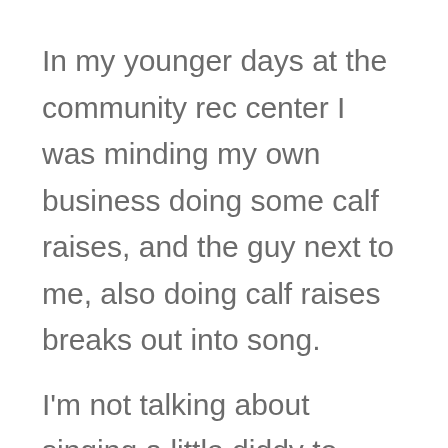In my younger days at the community rec center I was minding my own business doing some calf raises, and the guy next to me, also doing calf raises breaks out into song.
I'm not talking about singing a little diddy to himself. No.
This man was singing at the top of